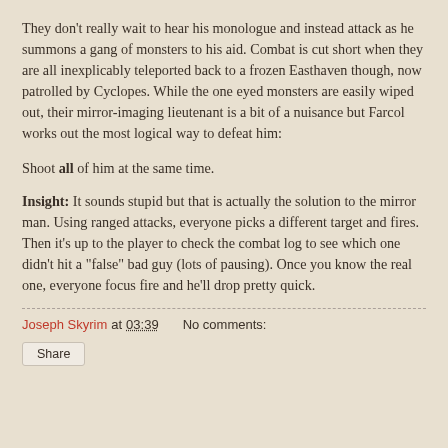They don't really wait to hear his monologue and instead attack as he summons a gang of monsters to his aid. Combat is cut short when they are all inexplicably teleported back to a frozen Easthaven though, now patrolled by Cyclopes. While the one eyed monsters are easily wiped out, their mirror-imaging lieutenant is a bit of a nuisance but Farcol works out the most logical way to defeat him:
Shoot all of him at the same time.
Insight: It sounds stupid but that is actually the solution to the mirror man. Using ranged attacks, everyone picks a different target and fires. Then it's up to the player to check the combat log to see which one didn't hit a "false" bad guy (lots of pausing). Once you know the real one, everyone focus fire and he'll drop pretty quick.
Joseph Skyrim at 03:39    No comments:
Share